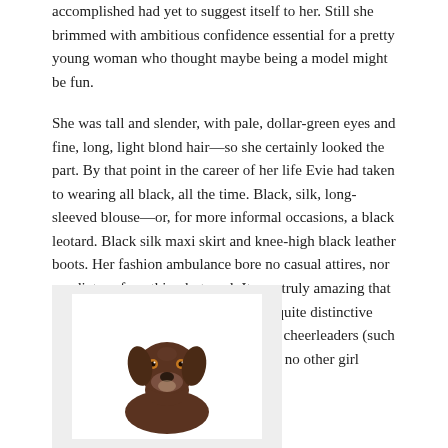accomplished had yet to suggest itself to her. Still she brimmed with ambitious confidence essential for a pretty young woman who thought maybe being a model might be fun.
She was tall and slender, with pale, dollar-green eyes and fine, long, light blond hair—so she certainly looked the part. By that point in the career of her life Evie had taken to wearing all black, all the time. Black, silk, long-sleeved blouse—or, for more informal occasions, a black leotard. Black silk maxi skirt and knee-high black leather boots. Her fashion ambulance bore no casual attires, nor a radiator of anything but cool. It was truly amazing that she had managed to achieve her own quite distinctive style among a sea of maroon and gold cheerleaders (such as herself). She played it both ways as no other girl could.
[Figure (photo): A brown/chocolate colored dog (appears to be a German Shorthaired Pointer) photographed against a white background, looking slightly upward. The dog's head and upper body are visible. The photo is displayed inside a white inner frame set within a light gray outer box.]